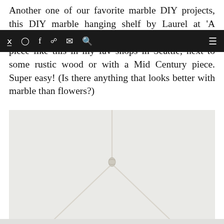Another one of our favorite marble DIY projects, this DIY marble hanging shelf by Laurel at 'A Bubbly Life' is all glam, modern and fun. I can see a piece like this in my fav shops in Seattle, next to some rustic wood or with a Mid Century piece. Super easy! (Is there anything that looks better with marble than flowers?)
[Figure (photo): A white/light grey background photo showing thin white rope or cord arranged in a hanging/macrame style with a knot in the center, forming a V or triangular hanging shape, likely part of a DIY marble hanging shelf tutorial.]